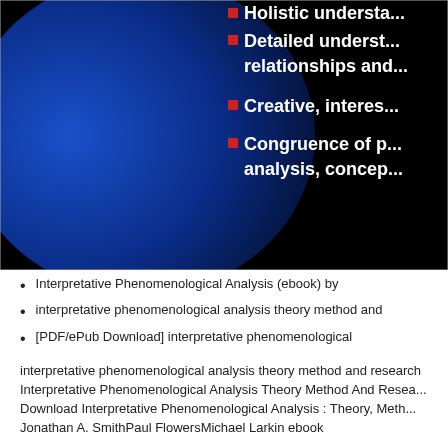[Figure (screenshot): Presentation slide with dark background (black and blue gradient/arc). White text bullet points visible: 'Holistic understa...', 'Detailed underst... relationships and...', 'Creative, interes...', 'Congruence of p... analysis, concep...' with red square bullet markers.]
Interpretative Phenomenological Analysis (ebook) by
interpretative phenomenological analysis theory method and
[PDF/ePub Download] interpretative phenomenological
interpretative phenomenological analysis theory method and research Interpretative Phenomenological Analysis Theory Method And Resea... Download Interpretative Phenomenological Analysis : Theory, Meth... Jonathan A. SmithPaul FlowersMichael Larkin ebook